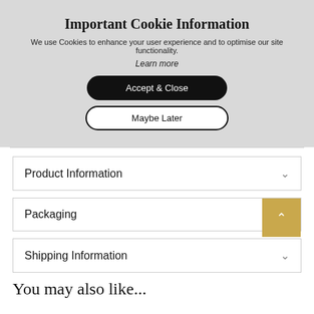Important Cookie Information
We use Cookies to enhance your user experience and to optimise our site functionality.
Learn more
Accept & Close
Maybe Later
Product Information
Packaging
Shipping Information
You may also like...